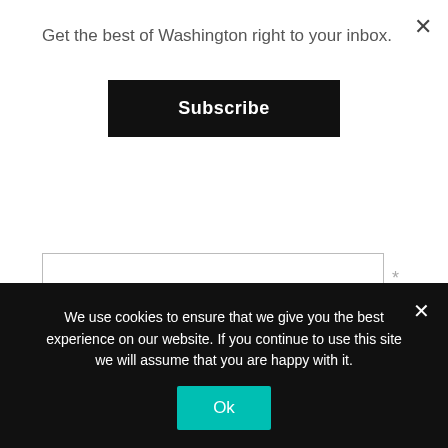Get the best of Washington right to your inbox.
Subscribe
EMAIL ADDRESS
WEBSITE
We use cookies to ensure that we give you the best experience on our website. If you continue to use this site we will assume that you are happy with it.
Ok